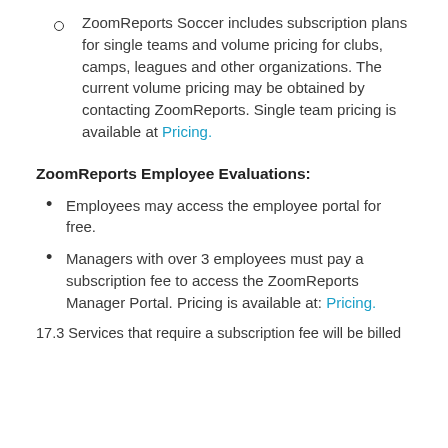ZoomReports Soccer includes subscription plans for single teams and volume pricing for clubs, camps, leagues and other organizations. The current volume pricing may be obtained by contacting ZoomReports. Single team pricing is available at Pricing.
ZoomReports Employee Evaluations:
Employees may access the employee portal for free.
Managers with over 3 employees must pay a subscription fee to access the ZoomReports Manager Portal. Pricing is available at: Pricing.
17.3 Services that require a subscription fee will be billed